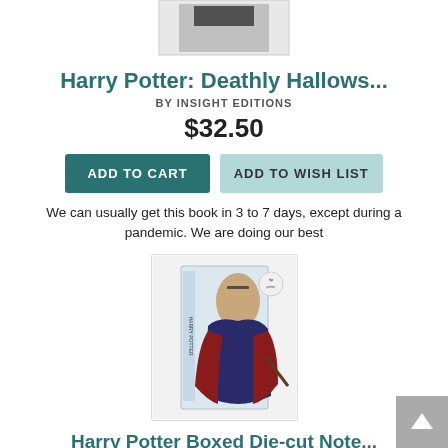[Figure (photo): Top portion of a product image (partially cropped), showing what appears to be a book or boxed set]
Harry Potter: Deathly Hallows...
BY INSIGHT EDITIONS
$32.50
ADD TO CART
ADD TO WISH LIST
We can usually get this book in 3 to 7 days, except during a pandemic. We are doing our best
[Figure (photo): Product image of Harry Potter Boxed Die-cut Note set, showing Harry Potter character on a boxed set of notecards]
Harry Potter Boxed Die-cut Note...